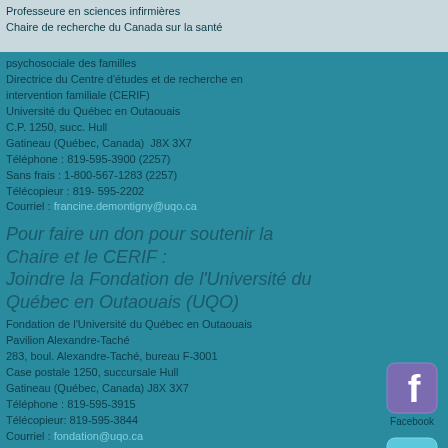Professeure en sciences infirmières
Chaire de recherche du Canada sur la santé psychosociale des familles
Directrice du Centre d'études et de recherche en intervention familiale (CERIF)
Université du Québec en Outaouais
C.P. 1250, succ. Hull
Gatineau (Québec, Canada)  J8X 3X7
Téléphone : 819-595-3900 (2257)
Sans frais : 1-800-567-1283 (2257)
Télécopieur : 819- 595-2202
Courriel : francine.demontigny@uqo.ca
Pour faire un don pour soutenir la Chaire et le CERIF :
Joindre la Fondation de l'Université du Québec en Outaouais (UQO)
Fondation de l'Université du Québec en Outaouais
Pavilion Alexandre-Taché
283, boul. Alexandre-Taché, bureau F-3001
Case postale 1250, succursale Hull
Gatineau (Québec, Canada) J8X 3X7
Téléphone : 819-595-3915
Télécopieur: 819-595-3844
Courriel : fondation@uqo.ca
[Figure (logo): Facebook social media icon button]
[Figure (logo): Twitter social media icon button]